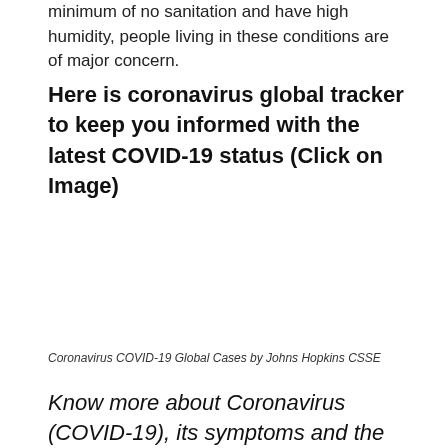minimum of no sanitation and have high humidity, people living in these conditions are of major concern.
Here is coronavirus global tracker to keep you informed with the latest COVID-19 status (Click on Image)
[Figure (other): Blank placeholder area for an embedded coronavirus COVID-19 global tracker map image (click-through link)]
Coronavirus COVID-19 Global Cases by Johns Hopkins CSSE
Know more about Coronavirus (COVID-19), its symptoms and the precautionary measures –